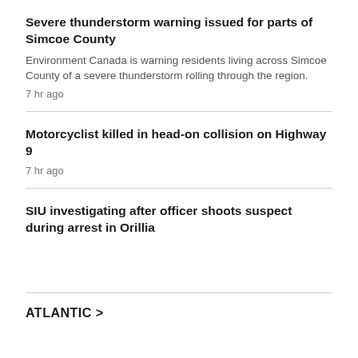Severe thunderstorm warning issued for parts of Simcoe County
Environment Canada is warning residents living across Simcoe County of a severe thunderstorm rolling through the region.
7 hr ago
Motorcyclist killed in head-on collision on Highway 9
7 hr ago
SIU investigating after officer shoots suspect during arrest in Orillia
ATLANTIC >